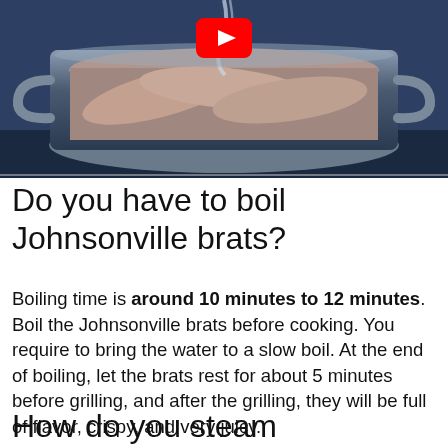[Figure (photo): Photo of bratwurst sausages in a pot of water with a YouTube play button overlay in the upper center]
Do you have to boil Johnsonville brats?
Boiling time is around 10 minutes to 12 minutes. Boil the Johnsonville brats before cooking. You require to bring the water to a slow boil. At the end of boiling, let the brats rest for about 5 minutes before grilling, and after the grilling, they will be full of flavor, crispy, and very juicy.
How do you steam